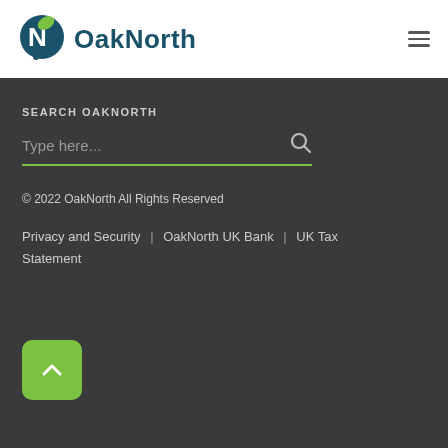[Figure (logo): OakNorth logo: dark teal circle with white N letterform and green leaf accent, followed by 'OakNorth' text in dark teal bold font]
[Figure (other): Hamburger menu icon (three horizontal lines)]
SEARCH OAKNORTH
Type here...
© 2022 OakNorth All Rights Reserved
Privacy and Security | OakNorth UK Bank | UK Tax Statement
[Figure (other): Green rounded square button with white upward chevron arrow (back to top button)]